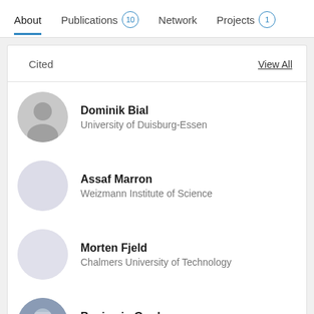About  Publications 10  Network  Projects 1
Cited
View All
Dominik Bial
University of Duisburg-Essen
Assaf Marron
Weizmann Institute of Science
Morten Fjeld
Chalmers University of Technology
Benjamin Gardner
University of Surrey
Virginia Braun
University of Auckland